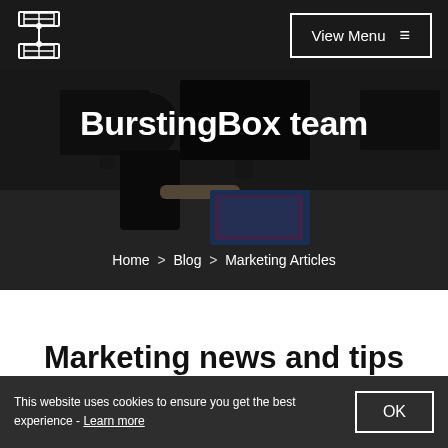BurstingBox logo | View Menu
[Figure (photo): Office scene with person working at multiple computer monitors, dark overlay]
BurstingBox team
Home > Blog > Marketing Articles
Marketing news and tips
This website uses cookies to ensure you get the best experience - Learn more
OK